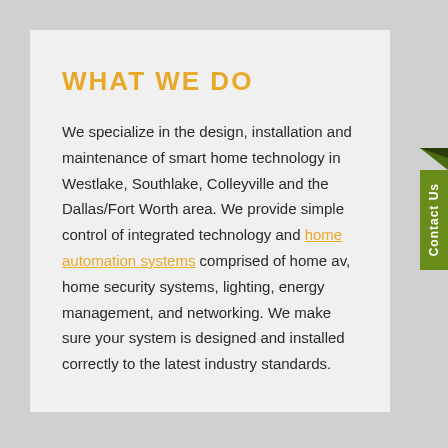WHAT WE DO
We specialize in the design, installation and maintenance of smart home technology in Westlake, Southlake, Colleyville and the Dallas/Fort Worth area. We provide simple control of integrated technology and home automation systems comprised of home av, home security systems, lighting, energy management, and networking. We make sure your system is designed and installed correctly to the latest industry standards.